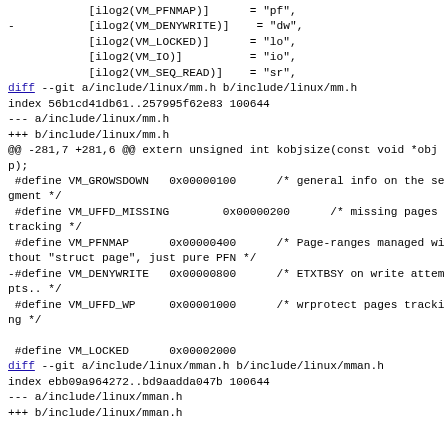[ilog2(VM_PFNMAP)]      = "pf",
-           [ilog2(VM_DENYWRITE)]    = "dw",
            [ilog2(VM_LOCKED)]      = "lo",
            [ilog2(VM_IO)]          = "io",
            [ilog2(VM_SEQ_READ)]    = "sr",
diff --git a/include/linux/mm.h b/include/linux/mm.h
index 56b1cd41db61..257995f62e83 100644
--- a/include/linux/mm.h
+++ b/include/linux/mm.h
@@ -281,7 +281,6 @@ extern unsigned int kobjsize(const void *objp);
 #define VM_GROWSDOWN   0x00000100      /* general info on the segment */
 #define VM_UFFD_MISSING        0x00000200      /* missing pages tracking */
 #define VM_PFNMAP      0x00000400      /* Page-ranges managed without "struct page", just pure PFN */
-#define VM_DENYWRITE   0x00000800      /* ETXTBSY on write attempts.. */
 #define VM_UFFD_WP     0x00001000      /* wrprotect pages tracking */

 #define VM_LOCKED      0x00002000
diff --git a/include/linux/mman.h b/include/linux/mman.h
index ebb09a964272..bd9aadda047b 100644
--- a/include/linux/mman.h
+++ b/include/linux/mman.h